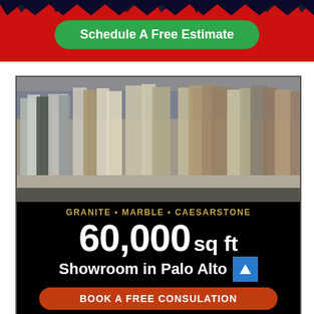[Figure (infographic): Red banner with dark zigzag top edge and a green rounded button reading 'Schedule A Free Estimate']
[Figure (photo): Interior of a large stone slab showroom with rows of granite, marble, and quartz slabs standing vertically on the warehouse floor]
GRANITE • MARBLE • CAESARSTONE
60,000 sq ft
Showroom in Palo Alto
BOOK A FREE CONSULATION